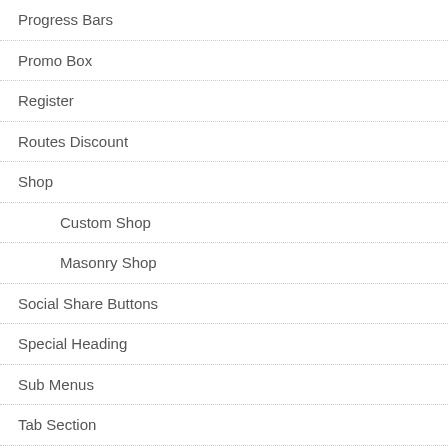Progress Bars
Promo Box
Register
Routes Discount
Shop
Custom Shop
Masonry Shop
Social Share Buttons
Special Heading
Sub Menus
Tab Section
Tables
Tabs (Content Tabs)
Tarifs